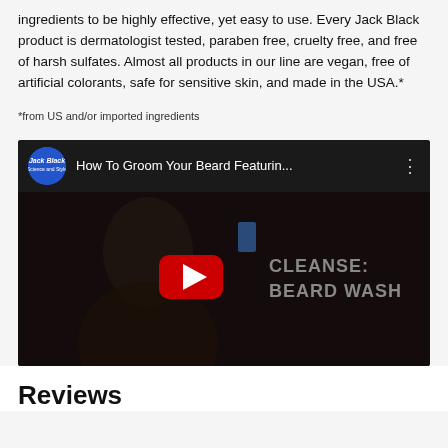ingredients to be highly effective, yet easy to use. Every Jack Black product is dermatologist tested, paraben free, cruelty free, and free of harsh sulfates. Almost all products in our line are vegan, free of artificial colorants, safe for sensitive skin, and made in the USA.*
*from US and/or imported ingredients
[Figure (screenshot): YouTube video embed showing a man grooming his beard, with text overlay 'CLEANSE: BEARD WASH' and a YouTube play button. Video title: 'How To Groom Your Beard Featurin...']
Reviews